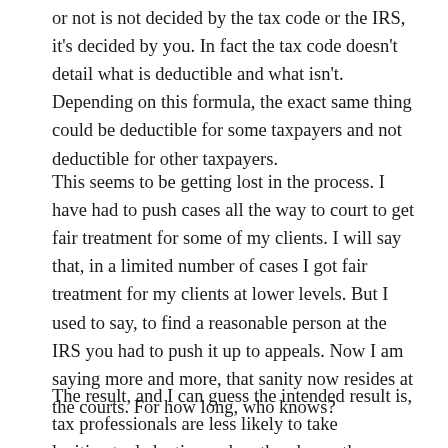or not is not decided by the tax code or the IRS, it's decided by you. In fact the tax code doesn't detail what is deductible and what isn't. Depending on this formula, the exact same thing could be deductible for some taxpayers and not deductible for other taxpayers.
This seems to be getting lost in the process. I have had to push cases all the way to court to get fair treatment for some of my clients. I will say that, in a limited number of cases I got fair treatment for my clients at lower levels. But I used to say, to find a reasonable person at the IRS you had to push it up to appeals. Now I am saying more and more, that sanity now resides at the courts. For how long, who knows?
The result, and I can guess the intended result is, tax professionals are less likely to take legitimate deductions when they know they may have to explain